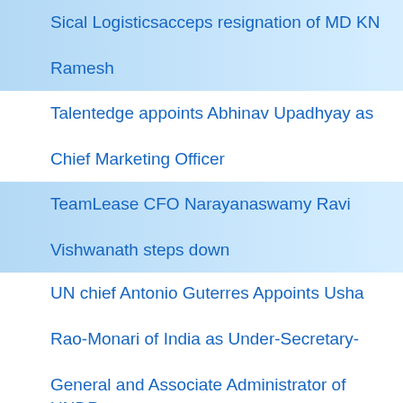Sical Logisticsacceps resignation of MD KN Ramesh
Talentedge appoints Abhinav Upadhyay as Chief Marketing Officer
TeamLease CFO Narayanaswamy Ravi Vishwanath steps down
UN chief Antonio Guterres Appoints Usha Rao-Monari of India as Under-Secretary-General and Associate Administrator of UNDP
Soumya appointed VISA country manager for Bangladesh